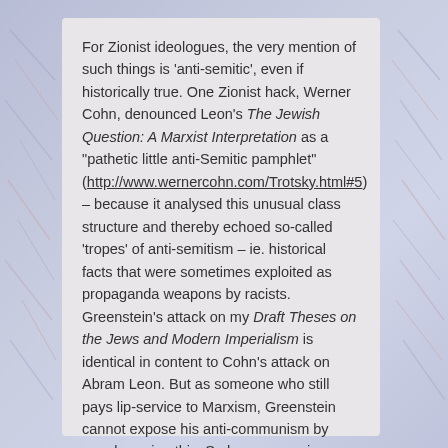For Zionist ideologues, the very mention of such things is 'anti-semitic', even if historically true. One Zionist hack, Werner Cohn, denounced Leon's The Jewish Question: A Marxist Interpretation as a "pathetic little anti-Semitic pamphlet" (http://www.wernercohn.com/Trotsky.html#5) – because it analysed this unusual class structure and thereby echoed so-called 'tropes' of anti-semitism – ie. historical facts that were sometimes exploited as propaganda weapons by racists. Greenstein's attack on my Draft Theses on the Jews and Modern Imperialism is identical in content to Cohn's attack on Abram Leon. But as someone who still pays lip-service to Marxism, Greenstein cannot expose his anti-communism by openly saying this. So he engages in elaborate sophistry about how I supposedly do not understand Abram Leon's theory.
Greenstein quotes me as saying the following in my